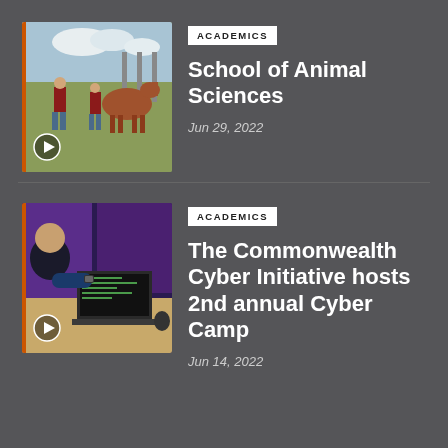[Figure (photo): Students working with a horse outdoors in a field, with trees and cloudy sky in background. Play button overlay in bottom left corner.]
ACADEMICS
School of Animal Sciences
Jun 29, 2022
[Figure (photo): Person working on a laptop at a desk with purple monitors in the background. Play button overlay in bottom left corner.]
ACADEMICS
The Commonwealth Cyber Initiative hosts 2nd annual Cyber Camp
Jun 14, 2022